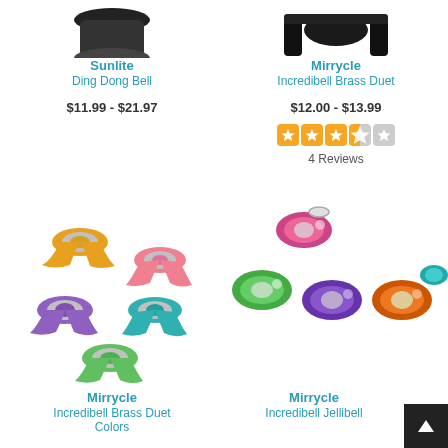[Figure (photo): Sunlite Ding Dong Bell product image (partial top view)]
Sunlite
Ding Dong Bell
$11.99 - $21.97
[Figure (photo): Mirrycle Incredibell Brass Duet product image (partial top view with strap)]
Mirrycle
Incredibell Brass Duet
$12.00 - $13.99
[Figure (other): Star rating: 3.5 out of 5 stars (orange filled stars on rounded square backgrounds), 4 Reviews]
4 Reviews
[Figure (photo): Mirrycle Incredibell Brass Duet Colors - multiple colorful bicycle bells (yellow, pink, purple, teal, green)]
Mirrycle
Incredibell Brass Duet Colors
[Figure (photo): Mirrycle Incredibell Jellibell - multiple colorful jelly-style bicycle bells (pink, green, purple, orange, teal)]
Mirrycle
Incredibell Jellibell